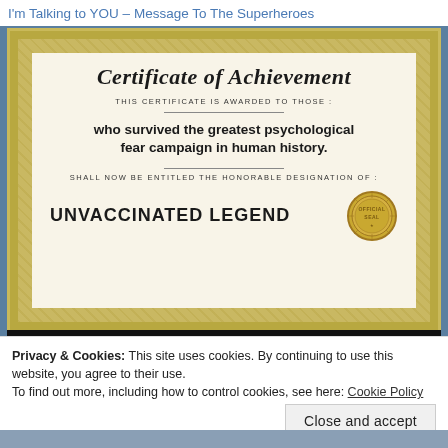I'm Talking to YOU – Message To The Superheroes
[Figure (illustration): A Certificate of Achievement image stating it is awarded to those who survived the greatest psychological fear campaign in human history, and shall now be entitled the honorable designation of UNVACCINATED LEGEND, with a gold seal in the lower right corner and an ornate gold border.]
Privacy & Cookies: This site uses cookies. By continuing to use this website, you agree to their use.
To find out more, including how to control cookies, see here: Cookie Policy
Close and accept